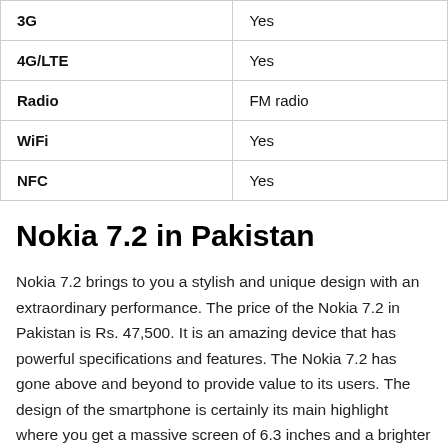| Feature | Value |
| --- | --- |
| 3G | Yes |
| 4G/LTE | Yes |
| Radio | FM radio |
| WiFi | Yes |
| NFC | Yes |
Nokia 7.2 in Pakistan
Nokia 7.2 brings to you a stylish and unique design with an extraordinary performance. The price of the Nokia 7.2 in Pakistan is Rs. 47,500. It is an amazing device that has powerful specifications and features. The Nokia 7.2 has gone above and beyond to provide value to its users. The design of the smartphone is certainly its main highlight where you get a massive screen of 6.3 inches and a brighter display that makes video viewing even more fun. It features Gorilla Glass that allows the phone to be even tougher. Moreover, it features in the layout and the design of the phone adds...